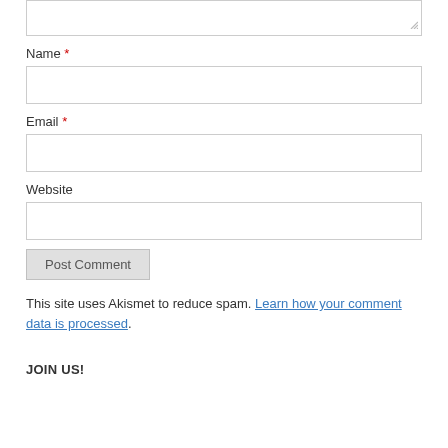Name *
[Figure (screenshot): Empty text input field for Name]
Email *
[Figure (screenshot): Empty text input field for Email]
Website
[Figure (screenshot): Empty text input field for Website]
[Figure (screenshot): Post Comment button]
This site uses Akismet to reduce spam. Learn how your comment data is processed.
JOIN US!